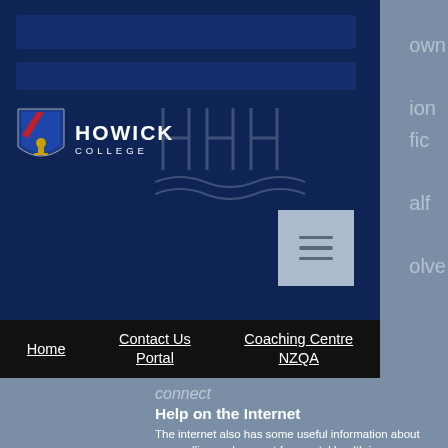[Figure (screenshot): Howick College website navigation screenshot showing logo, search bars, hamburger menu, and nav links: Home, Contact Us Portal, Coaching Centre, NZQA]
Home   Contact Us Portal   Coaching Centre   NZQA
Help on the Internet
The internet also has some useful information about counselling and support for mental health issues. Here are some helpful sites that students and parents may find informative:
www.youthline.co.nz
www.thelowdown.co.nz
www.whatsup.co.nz